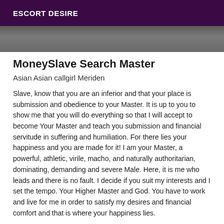ESCORT DESIRE
[Figure (photo): Dark grey gradient banner image]
MoneySlave Search Master
Asian Asian callgirl Meriden
Slave, know that you are an inferior and that your place is submission and obedience to your Master. It is up to you to show me that you will do everything so that I will accept to become Your Master and teach you submission and financial servitude in suffering and humiliation. For there lies your happiness and you are made for it! I am your Master, a powerful, athletic, virile, macho, and naturally authoritarian, dominating, demanding and severe Male. Here, it is me who leads and there is no fault. I decide if you suit my interests and I set the tempo. Your Higher Master and God. You have to work and live for me in order to satisfy my desires and financial comfort and that is where your happiness lies.